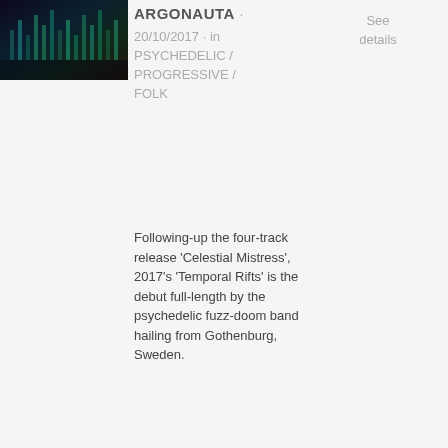[Figure (photo): Album cover thumbnail with dark psychedelic colors, appears to show a stage or abstract scene with teal and purple tones]
ARGONAUTA
20/10/2017 · in PSYCHEDELIC / PROGRESSIVE / FOLK
See details
Following-up the four-track release 'Celestial Mistress', 2017's 'Temporal Rifts' is the debut full-length by the psychedelic fuzz-doom band hailing from Gothenburg, Sweden.